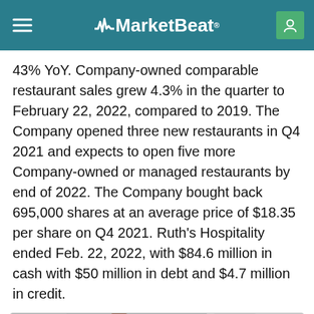MarketBeat
43% YoY. Company-owned comparable restaurant sales grew 4.3% in the quarter to February 22, 2022, compared to 2019. The Company opened three new restaurants in Q4 2021 and expects to open five more Company-owned or managed restaurants by end of 2022. The Company bought back 695,000 shares at an average price of $18.35 per share on Q4 2021. Ruth's Hospitality ended Feb. 22, 2022, with $84.6 million in cash with $50 million in debt and $4.7 million in credit.
[Figure (photo): Person in dark clothing holding a red cloth or napkin, with a blurred gray background — restaurant hospitality related image]